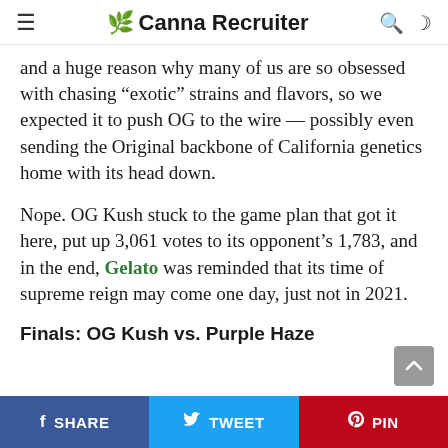🌿 Canna Recruiter
and a huge reason why many of us are so obsessed with chasing “exotic” strains and flavors, so we expected it to push OG to the wire — possibly even sending the Original backbone of California genetics home with its head down.
Nope. OG Kush stuck to the game plan that got it here, put up 3,061 votes to its opponent’s 1,783, and in the end, Gelato was reminded that its time of supreme reign may come one day, just not in 2021.
Finals: OG Kush vs. Purple Haze
SHARE  TWEET  PIN